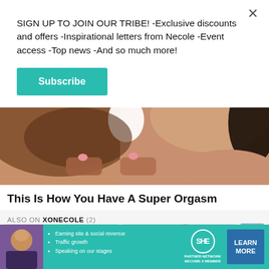SIGN UP TO JOIN OUR TRIBE! -Exclusive discounts and offers -Inspirational letters from Necole -Event access -Top news -And so much more!
Subscribe
[Figure (photo): Close-up of two people in an intimate embrace, one person with dark skin tone, white fabric/towel visible, pink nails visible on hands]
This Is How You Have A Super Orgasm
ALSO ON XONECOLE (2)
[Figure (photo): Thumbnail image with green/sage background]
[Figure (photo): Thumbnail image with beige/brown tones showing a person]
[Figure (photo): Partial thumbnail with blue background]
[Figure (infographic): SHE Partner Network advertisement banner with woman photo, bullet points: Earning site & social revenue, Traffic growth, Speaking on our stages, and LEARN MORE button]